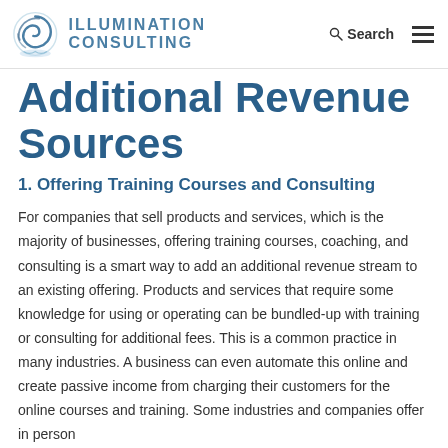Illumination Consulting | Search
Additional Revenue Sources
1. Offering Training Courses and Consulting
For companies that sell products and services, which is the majority of businesses, offering training courses, coaching, and consulting is a smart way to add an additional revenue stream to an existing offering. Products and services that require some knowledge for using or operating can be bundled-up with training or consulting for additional fees. This is a common practice in many industries. A business can even automate this online and create passive income from charging their customers for the online courses and training. Some industries and companies offer in person